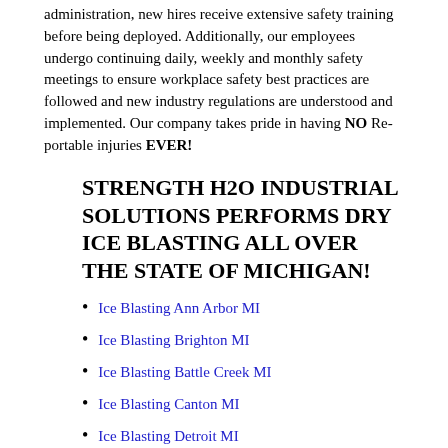administration, new hires receive extensive safety training before being deployed. Additionally, our employees undergo continuing daily, weekly and monthly safety meetings to ensure workplace safety best practices are followed and new industry regulations are understood and implemented. Our company takes pride in having NO Re-portable injuries EVER!
STRENGTH H2O INDUSTRIAL SOLUTIONS PERFORMS DRY ICE BLASTING ALL OVER THE STATE OF MICHIGAN!
Ice Blasting Ann Arbor MI
Ice Blasting Brighton MI
Ice Blasting Battle Creek MI
Ice Blasting Canton MI
Ice Blasting Detroit MI
Ice Blasting Flint MI
Ice Blasting Grand Rapids
Ice Blasting Jackson MI
Ice Blasting Livonia MI
Ice Blasting Kalamazoo MI